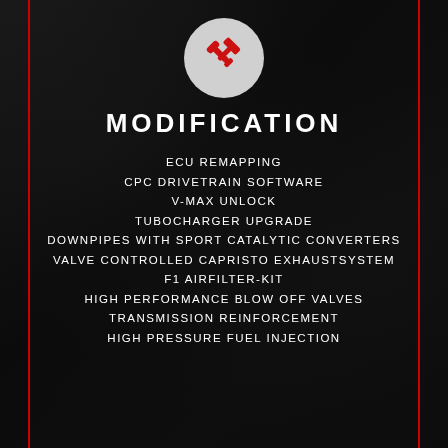[Figure (illustration): Red tools (hammer and wrench crossed) icon inside a light gray circle, centered at top of page]
MODIFICATION
ECU REMAPPING
CPC DRIVETRAIN SOFTWARE
V-MAX UNLOCK
TUBOCHARGER UPGRADE
DOWNPIPES WITH SPORT CATALYTIC CONVERTERS
VALVE CONTROLLED CAPRISTO EXHAUSTSYSTEM
F1 AIRFILTER-KIT
HIGH PERFORMANCE BLOW OFF VALVES
TRANSMISSION REINFORCEMENT
HIGH PRESSURE FUEL INJECTION